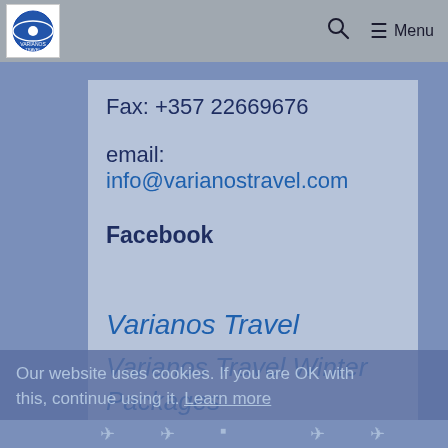Varianos Travel — Menu
Fax: +357 22669676
email: info@varianostravel.com
Facebook
Varianos Travel
Our website uses cookies. If you are OK with this, continue using it. Learn more
Varianos Travel Winter Packages
ok, that's fine